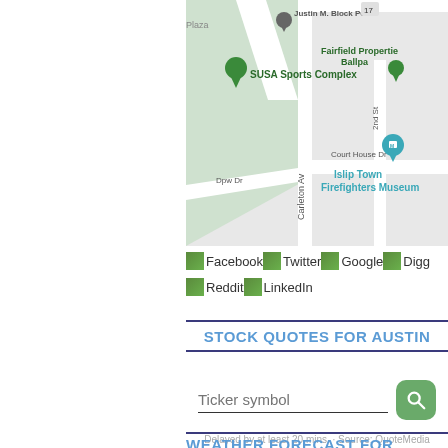[Figure (map): Google Maps screenshot showing SUSA Sports Complex, Justin M. Block PC, Fairfield Properties Ballpark, Islip Town Firefighters Museum, Carleton Ave, Court House Dr, Dpw Dr, 2nd St]
Facebook Twitter Google Digg Reddit LinkedIn
STOCK QUOTES FOR AUSTIN
Ticker symbol
Delayed by at least 20 mins. · Source: QuoteMedia
WEATHER FORECAST FOR